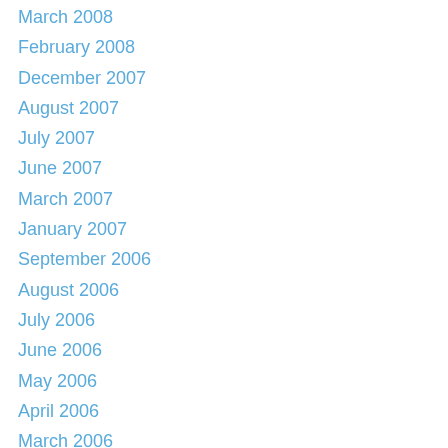March 2008
February 2008
December 2007
August 2007
July 2007
June 2007
March 2007
January 2007
September 2006
August 2006
July 2006
June 2006
May 2006
April 2006
March 2006
February 2006
December 2005
August 2005
July 2005
June 2005